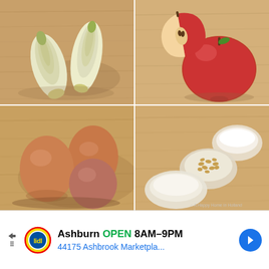[Figure (photo): Four-panel food photo grid: top-left shows two Belgian endive/chicory heads on a wooden cutting board; top-right shows a halved and whole red apple on a wooden cutting board; bottom-left shows three brown eggs on a wooden surface; bottom-right shows small white bowls containing pine nuts, white powder (flour or sugar), and cream/yogurt on a wooden board, with watermark 'A Happy Home in Holland']
[Figure (infographic): Lidl store advertisement banner: play button icon on left, Lidl logo (yellow circle with red and blue letters), text 'Ashburn OPEN 8AM-9PM' and '44175 Ashbrook Marketpla...' with blue navigation arrow on right]